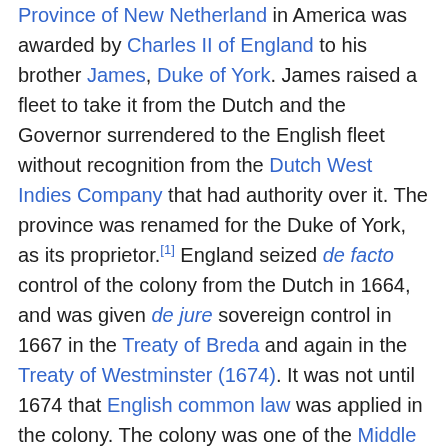Province of New Netherland in America was awarded by Charles II of England to his brother James, Duke of York. James raised a fleet to take it from the Dutch and the Governor surrendered to the English fleet without recognition from the Dutch West Indies Company that had authority over it. The province was renamed for the Duke of York, as its proprietor.[1] England seized de facto control of the colony from the Dutch in 1664, and was given de jure sovereign control in 1667 in the Treaty of Breda and again in the Treaty of Westminster (1674). It was not until 1674 that English common law was applied in the colony. The colony was one of the Middle Colonies, and ruled at first directly from England. When the Duke of York ascended to the throne of England as James II, the province became a royal colony.
When the English arrived, the Dutch colony somewhat vaguely included claims to all of the present U.S. states of